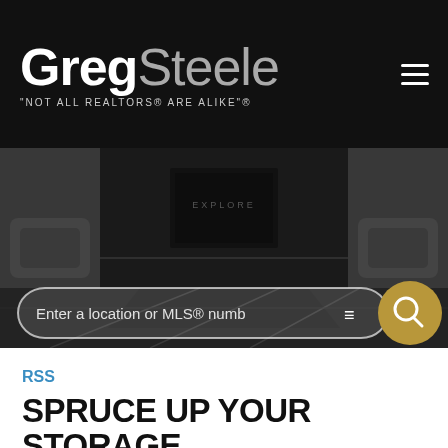Greg Steele — "NOT ALL REALTORS® ARE ALIKE"®
[Figure (screenshot): Hero photo of a modern living room interior in dark tones, with a search bar overlay containing placeholder text 'Enter a location or MLS® numb' and a gold search button]
RSS
SPRUCE UP YOUR STORAGE SPACE THIS SEPTEMBER
Posted on September 26, 2018 by GREG STEELE